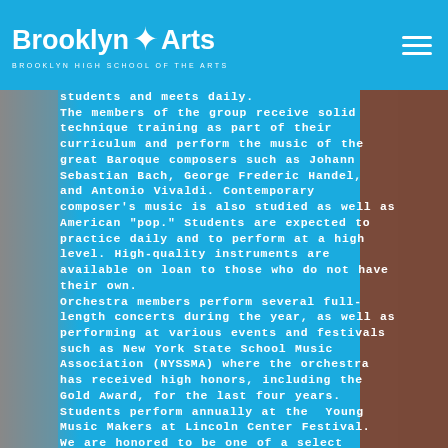Brooklyn Arts — Brooklyn High School of the Arts
students and meets daily. The members of the group receive solid technique training as part of their curriculum and perform the music of the great Baroque composers such as Johann Sebastian Bach, George Frederic Handel, and Antonio Vivaldi. Contemporary composer's music is also studied as well as American "pop." Students are expected to practice daily and to perform at a high level. High-quality instruments are available on loan to those who do not have their own. Orchestra members perform several full-length concerts during the year, as well as performing at various events and festivals such as New York State School Music Association (NYSSMA) where the orchestra has received high honors, including the Gold Award, for the last four years. Students perform annually at the Young Music Makers at Lincoln Center Festival. We are honored to be one of a select group of schools to be part of Ensemble Connect, a program of Carnegie Hall, The Julliard School, and The Weill Music Institute in collaboration with the New York City Department of Education.. For Further information about this program